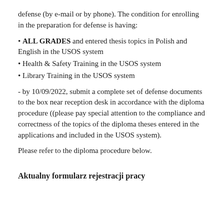defense (by e-mail or by phone). The condition for enrolling in the preparation for defense is having:
ALL GRADES and entered thesis topics in Polish and English in the USOS system
Health & Safety Training in the USOS system
Library Training in the USOS system
- by 10/09/2022, submit a complete set of defense documents to the box near reception desk in accordance with the diploma procedure ((please pay special attention to the compliance and correctness of the topics of the diploma theses entered in the applications and included in the USOS system).
Please refer to the diploma procedure below.
Aktualny formularz rejestracji pracy